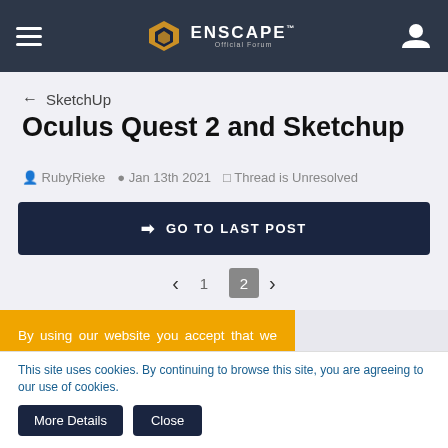Enscape Official Forum — hamburger menu, logo, user icon
← SketchUp
Oculus Quest 2 and Sketchup
RubyRieke  Jan 13th 2021  Thread is Unresolved
→ GO TO LAST POST
‹ 1 2 ›
By using our website you accept that we use cookies to track usage and improve the relevancy of ads and may...
This site uses cookies. By continuing to browse this site, you are agreeing to our use of cookies.
More Details   Close